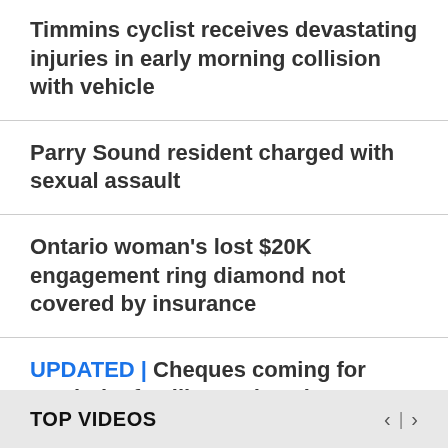Timmins cyclist receives devastating injuries in early morning collision with vehicle
Parry Sound resident charged with sexual assault
Ontario woman's lost $20K engagement ring diamond not covered by insurance
UPDATED | Cheques coming for Manitoba families and seniors to help deal with inflation: premier
TOP VIDEOS